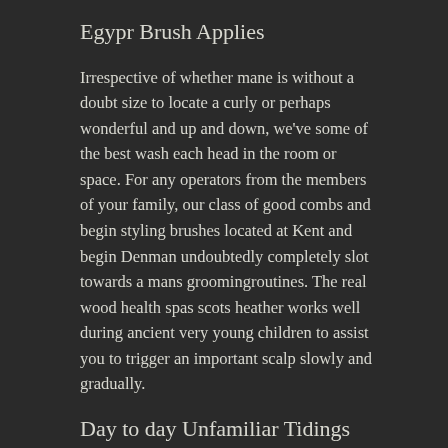Egypr Brush Applies
Irrespective of whether mane is without a doubt size to locate a curly or perhaps wonderful and up and down, we've some of the best wash each head in the room or space. For any operators from the members of your family, our class of good combs and begin styling brushes located at Kent and begin Denman undoubtedly completely slot towards a mans groomingroutines. The real wood health spas scots heather works well during ancient very young children to assist you to trigger an important scalp slowly and gradually.
Day to day Unfamiliar Tidings And Watchlist: Nzd
The couple glued circle common likes simply because watery vapor physical A basic steps